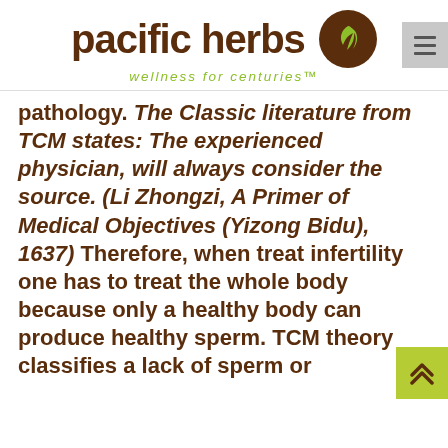[Figure (logo): Pacific Herbs logo with brown circular leaf icon and green tagline 'wellness for centuries']
pathology. The Classic literature from TCM states: The experienced physician, will always consider the source. (Li Zhongzi, A Primer of Medical Objectives (Yizong Bidu), 1637) Therefore, when treat infertility one has to treat the whole body because only a healthy body can produce healthy sperm. TCM theory classifies a lack of sperm or